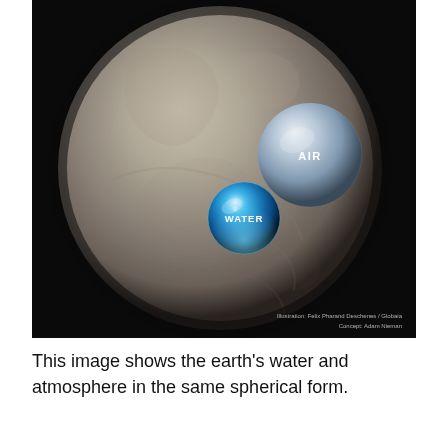[Figure (illustration): An illustration showing a large grey/beige sphere representing Earth without surface water or atmosphere visible, with two smaller spheres resting on its surface: a medium grey sphere labeled 'AIR' (representing all of Earth's atmosphere condensed into a sphere) and a smaller blue sphere labeled 'WATER' (representing all of Earth's water condensed into a sphere). The background is dark/black space. A credit line reads: Illustration: Felix Pharand Deschenes / Globaia, Concept: Adam Nieman.]
This image shows the earth's water and atmosphere in the same spherical form.